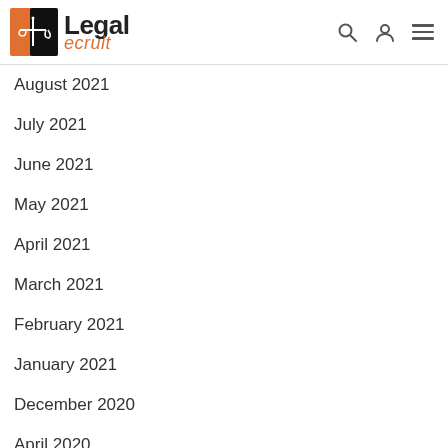LegalRecruit
August 2021
July 2021
June 2021
May 2021
April 2021
March 2021
February 2021
January 2021
December 2020
April 2020
March 2020
February 2020